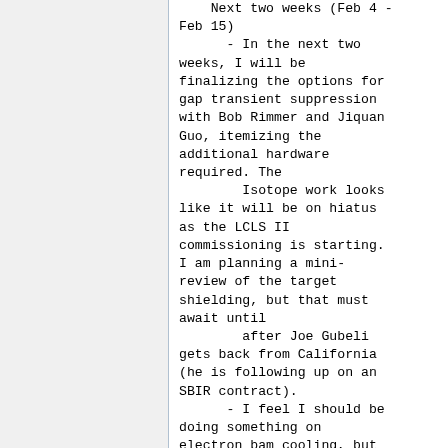Next two weeks (Feb 4 - Feb 15)
        - In the next two weeks, I will be finalizing the options for gap transient suppression with Bob Rimmer and Jiquan Guo, itemizing the additional hardware required. The
        Isotope work looks like it will be on hiatus as the LCLS II commissioning is starting. I am planning a mini-review of the target shielding, but that must await until
        after Joe Gubeli gets back from California (he is following up on an SBIR contract).
        - I feel I should be doing something on electron bam cooling, but